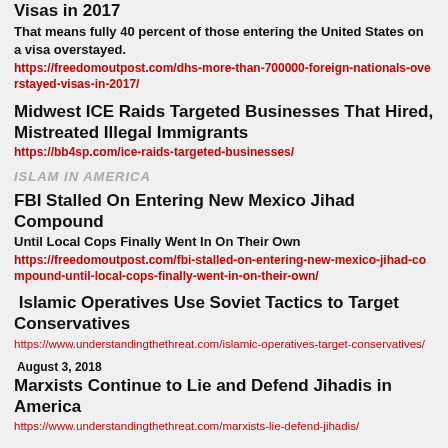Visas in 2017
That means fully 40 percent of those entering the United States on a visa overstayed.
https://freedomoutpost.com/dhs-more-than-700000-foreign-nationals-overstayed-visas-in-2017/
Midwest ICE Raids Targeted Businesses That Hired, Mistreated Illegal Immigrants
https://bb4sp.com/ice-raids-targeted-businesses/
ISLAM IN AMERICA
FBI Stalled On Entering New Mexico Jihad Compound
Until Local Cops Finally Went In On Their Own
https://freedomoutpost.com/fbi-stalled-on-entering-new-mexico-jihad-compound-until-local-cops-finally-went-in-on-their-own/
Islamic Operatives Use Soviet Tactics to Target Conservatives
https://www.understandingthethreat.com/islamic-operatives-target-conservatives/
August 3, 2018
Marxists Continue to Lie and Defend Jihadis in America
https://www.understandingthethreat.com/marxists-lie-defend-jihadis/